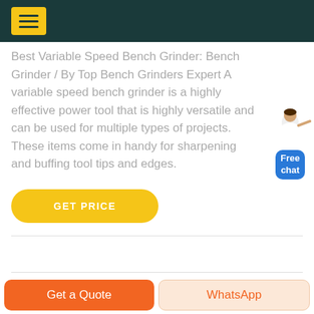Best Variable Speed Bench Grinder: Bench Grinder / By Top Bench Grinders Expert A variable speed bench grinder is a highly effective power tool that is highly versatile and can be used for multiple types of projects. These items come in handy for sharpening and buffing tool tips and edges.
[Figure (screenshot): GET PRICE button - yellow rounded rectangle with white text]
[Figure (illustration): Free chat widget with a person figure and blue box reading Free chat]
Get a Quote | WhatsApp